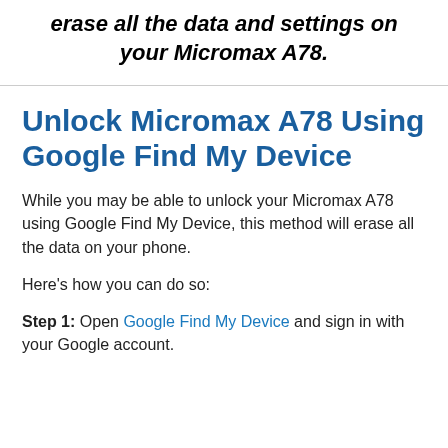erase all the data and settings on your Micromax A78.
Unlock Micromax A78 Using Google Find My Device
While you may be able to unlock your Micromax A78 using Google Find My Device, this method will erase all the data on your phone.
Here’s how you can do so:
Step 1: Open Google Find My Device and sign in with your Google account.